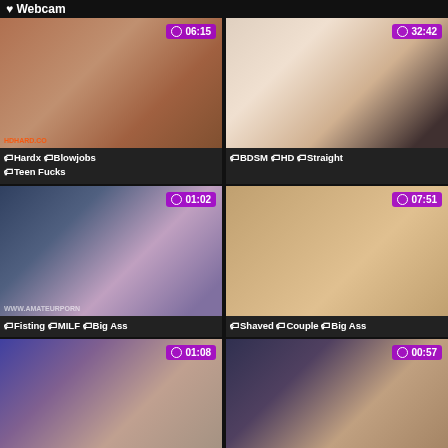Webcam
[Figure (photo): Video thumbnail 1 with duration 06:15]
Hardx Blowjobs Teen Fucks
[Figure (photo): Video thumbnail 2 with duration 32:42]
BDSM HD Straight
[Figure (photo): Video thumbnail 3 with duration 01:02]
Fisting MILF Big Ass
[Figure (photo): Video thumbnail 4 with duration 07:51]
Shaved Couple Big Ass
[Figure (photo): Video thumbnail 5 with duration 01:08]
[Figure (photo): Video thumbnail 6 with duration 00:57]